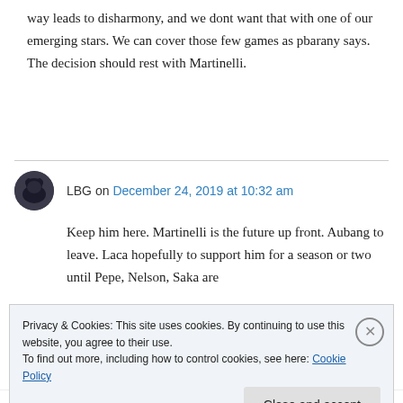way leads to disharmony, and we dont want that with one of our emerging stars. We can cover those few games as pbarany says. The decision should rest with Martinelli.
LBG on December 24, 2019 at 10:32 am
Keep him here. Martinelli is the future up front. Aubang to leave. Laca hopefully to support him for a season or two until Pepe, Nelson, Saka are
Privacy & Cookies: This site uses cookies. By continuing to use this website, you agree to their use.
To find out more, including how to control cookies, see here: Cookie Policy
Close and accept